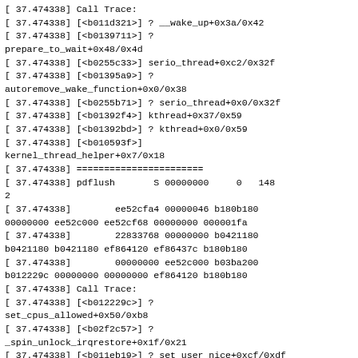[ 37.474338] Call Trace:
[ 37.474338] [<b011d321>] ? __wake_up+0x3a/0x42
[ 37.474338] [<b0139711>] ? prepare_to_wait+0x48/0x4d
[ 37.474338] [<b0255c33>] serio_thread+0xc2/0x32f
[ 37.474338] [<b01395a9>] ? autoremove_wake_function+0x0/0x38
[ 37.474338] [<b0255b71>] ? serio_thread+0x0/0x32f
[ 37.474338] [<b01392f4>] kthread+0x37/0x59
[ 37.474338] [<b01392bd>] ? kthread+0x0/0x59
[ 37.474338] [<b010593f>] kernel_thread_helper+0x7/0x18
[ 37.474338] =======================
[ 37.474338] pdflush        S 00000000     0   148 2
[ 37.474338]        ee52cfa4 00000046 b180b180 00000000 ee52c000 ee52cf68 00000000 000001fa
[ 37.474338]        22833768 00000000 b0421180 b0421180 b0421180 ef864120 ef86437c b180b180
[ 37.474338]        00000000 ee52c000 b03ba200 b012229c 00000000 00000000 ef864120 b180b180
[ 37.474338] Call Trace:
[ 37.474338] [<b012229c>] ? set_cpus_allowed+0x50/0xb8
[ 37.474338] [<b02f2c57>] ? _spin_unlock_irqrestore+0x1f/0x21
[ 37.474338] [<b011eb19>] ? set_user_nice+0xcf/0xdf
[ 37.474338] [<b0167dd1>] ? pdflush+0x0/0x1b4
[ 37.474338] [<b0167e82>] pdflush+0xb1/0x1b4
[ 37.474338] [<b01392f4>] kthread+0x37/0x59